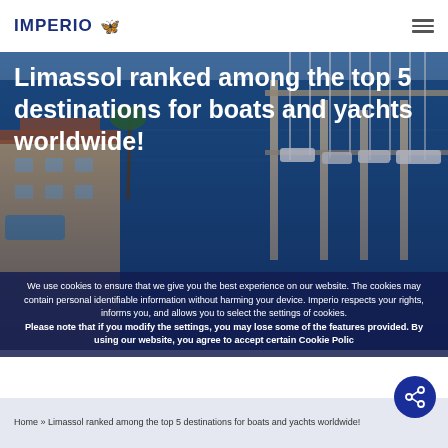IMPERIO
[Figure (photo): Aerial view of Limassol marina with yachts and boats docked at piers, blue water, with luxury residential buildings visible on the left side]
Limassol ranked among the top 5 destinations for boats and yachts worldwide!
We use cookies to ensure that we give you the best experience on our website. The cookies may contain personal identifiable information without harming your device. Imperio respects your rights, informs you, and allows you to select the settings of cookies. Please note that if you modify the settings, you may lose some of the features provided. By using our website, you agree to accept certain Cookie Policy
Home » Limassol ranked among the top 5 destinations for boats and yachts worldwide!